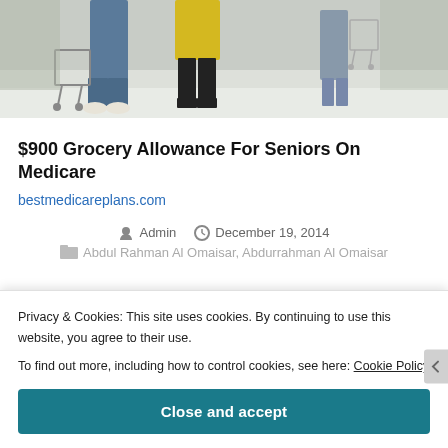[Figure (photo): Photo of people walking in a grocery store, seen from below waist level, pushing shopping carts on a light-colored floor. One person wears a yellow jacket, another in jeans and white sneakers.]
$900 Grocery Allowance For Seniors On Medicare
bestmedicareplans.com
Admin   December 19, 2014
Abdul Rahman Al Omaisar, Abdurrahman Al Omaisar
Privacy & Cookies: This site uses cookies. By continuing to use this website, you agree to their use.

To find out more, including how to control cookies, see here: Cookie Policy
Close and accept